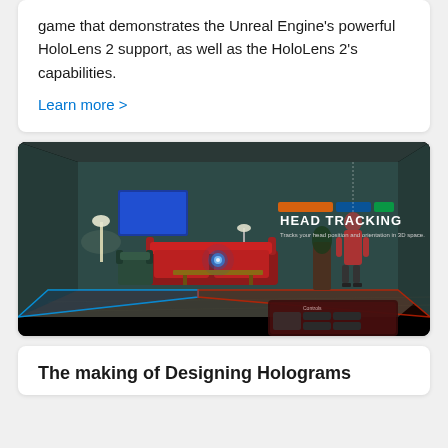game that demonstrates the Unreal Engine's powerful HoloLens 2 support, as well as the HoloLens 2's capabilities.
Learn more >
[Figure (screenshot): Screenshot of a HoloLens 2 demo showing a virtual living room scene with 'HEAD TRACKING' text overlay. The room shows a red couch, lamps, a person standing, a blue glowing orb, and a red/blue glowing floor panel. Dark background.]
The making of Designing Holograms